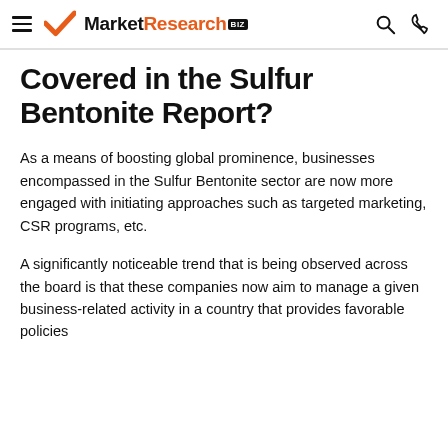MarketResearch.biz
Covered in the Sulfur Bentonite Report?
As a means of boosting global prominence, businesses encompassed in the Sulfur Bentonite sector are now more engaged with initiating approaches such as targeted marketing, CSR programs, etc.
A significantly noticeable trend that is being observed across the board is that these companies now aim to manage a given business-related activity in a country that provides favorable policies